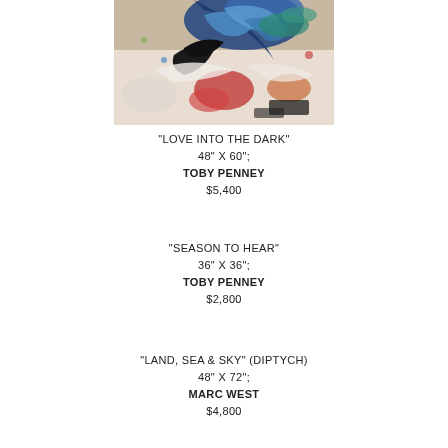[Figure (photo): Abstract painting with dark bird figure, blue swirls, and colorful splashes of red, white, and multicolor paint]
"LOVE INTO THE DARK"
48" X 60";
TOBY PENNEY
$5,400
"SEASON TO HEAR"
36" X 36";
TOBY PENNEY
$2,800
"LAND, SEA & SKY" (DIPTYCH)
48" X 72";
MARC WEST
$4,800